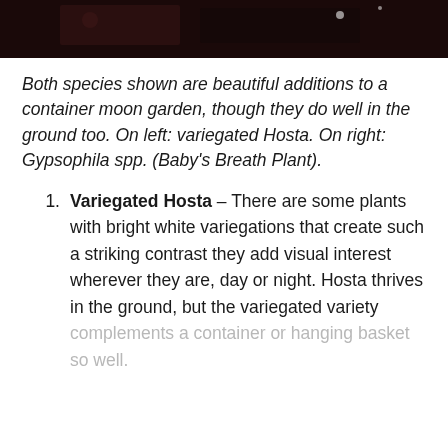[Figure (photo): Dark photograph of plants in a container or garden setting, showing variegated Hosta and Gypsophila spp.]
Both species shown are beautiful additions to a container moon garden, though they do well in the ground too. On left: variegated Hosta. On right: Gypsophila spp. (Baby's Breath Plant).
Variegated Hosta – There are some plants with bright white variegations that create such a striking contrast they add visual interest wherever they are, day or night. Hosta thrives in the ground, but the variegated variety complements a container or hanging basket so well.